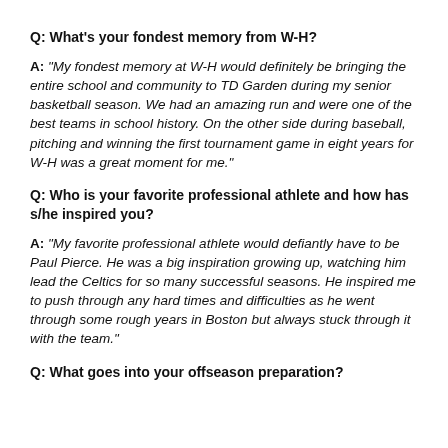Q: What's your fondest memory from W-H?
A: "My fondest memory at W-H would definitely be bringing the entire school and community to TD Garden during my senior basketball season. We had an amazing run and were one of the best teams in school history. On the other side during baseball, pitching and winning the first tournament game in eight years for W-H was a great moment for me."
Q: Who is your favorite professional athlete and how has s/he inspired you?
A: "My favorite professional athlete would defiantly have to be Paul Pierce. He was a big inspiration growing up, watching him lead the Celtics for so many successful seasons. He inspired me to push through any hard times and difficulties as he went through some rough years in Boston but always stuck through it with the team."
Q: What goes into your offseason preparation?